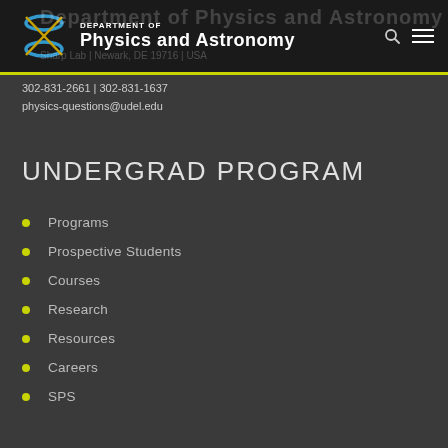Department of Physics and Astronomy
302-831-2661 | 302-831-1637
physics-questions@udel.edu
UNDERGRAD PROGRAM
Programs
Prospective Students
Courses
Research
Resources
Careers
SPS